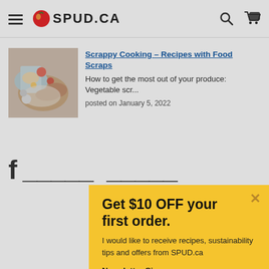SPUD.CA
[Figure (photo): Food scraps / vegetable dish photo thumbnail]
Scrappy Cooking – Recipes with Food Scraps
How to get the most out of your produce: Vegetable scr...
posted on January 5, 2022
Get $10 OFF your first order.
I would like to receive recipes, sustainability tips and offers from SPUD.ca
Newsletter Signup:
Your email address
Sign up